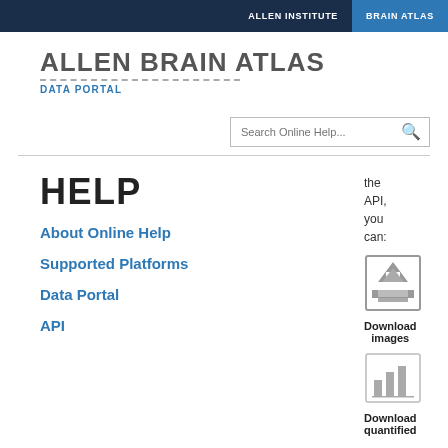ALLEN INSTITUTE   BRAIN ATLAS
ALLEN BRAIN ATLAS
DATA PORTAL
[Figure (other): Search bar with placeholder text 'Search Online Help...' and a magnifying glass icon]
HELP
About Online Help
Supported Platforms
Data Portal
API
the API, you can:
[Figure (other): Download images icon - a box with a downward arrow and horizontal lines]
Download images
[Figure (other): Download quantified data icon - a bar chart icon]
Download quantified